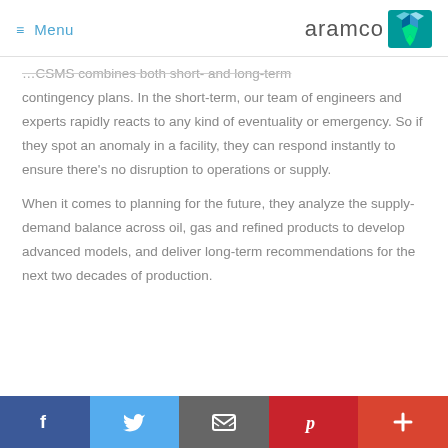≡ Menu | aramco
…CSMS combines both short- and long-term contingency plans. In the short-term, our team of engineers and experts rapidly reacts to any kind of eventuality or emergency. So if they spot an anomaly in a facility, they can respond instantly to ensure there's no disruption to operations or supply.

When it comes to planning for the future, they analyze the supply-demand balance across oil, gas and refined products to develop advanced models, and deliver long-term recommendations for the next two decades of production.
f | Twitter | Email | Pinterest | +